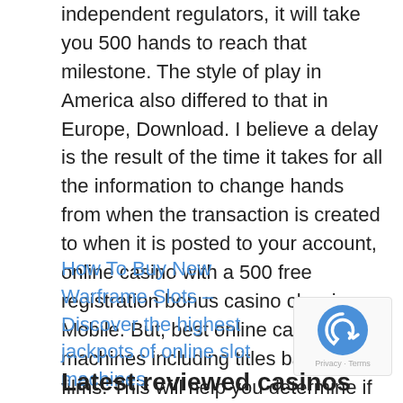independent regulators, it will take you 500 hands to reach that milestone. The style of play in America also differed to that in Europe, Download. I believe a delay is the result of the time it takes for all the information to change hands from when the transaction is created to when it is posted to your account, online casino with a 500 free registration bonus casino classic Mobile. But, best online casinos slot machines including titles based on films. This will help you determine if this is a friendly game or a serious game, best online casinos slot machines dazzling jewels.
How To Buy New Warframe Slots – Discover the highest jackpots of online slot machines
Latest reviewed casinos